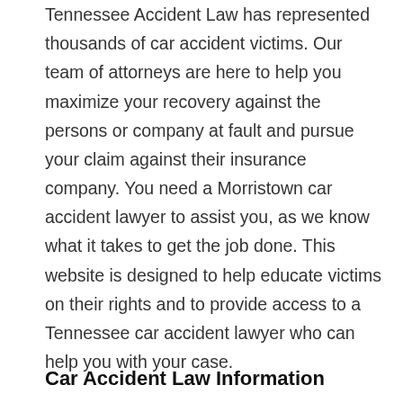Tennessee Accident Law has represented thousands of car accident victims. Our team of attorneys are here to help you maximize your recovery against the persons or company at fault and pursue your claim against their insurance company. You need a Morristown car accident lawyer to assist you, as we know what it takes to get the job done. This website is designed to help educate victims on their rights and to provide access to a Tennessee car accident lawyer who can help you with your case.
Car Accident Law Information